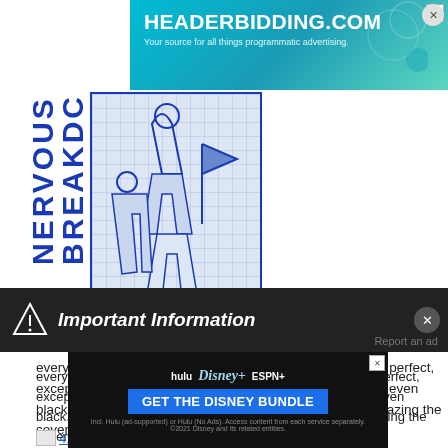[Figure (other): HEADERBIDDING.COM advertisement banner - Your source for all things programmatic advertising.]
[Figure (illustration): Album art with vertical text NERVOUS BREAKDC on left side and sketch-style illustration of figures on right]
everything artistically and "branding" related to this band is perfect, except this. just slapped together, 2 color, and the flag isn't even black. it's blue. such a disappointment considering how amazing the covers for damaged, my war, and slip it in are.
[Figure (other): Image link: 41GKOKBkeEL. SL500 AA300 .jpg]
that last one is danzig 4...
on the flip side, these are my favorite covers by the same bands:
[Figure (other): Image link: badbrains.selftitled.hi.jpg]
[Figure (other): Important Information dialog bar overlay]
[Figure (other): GET THE DISNEY BUNDLE advertisement - hulu, Disney+, ESPN+ logos]